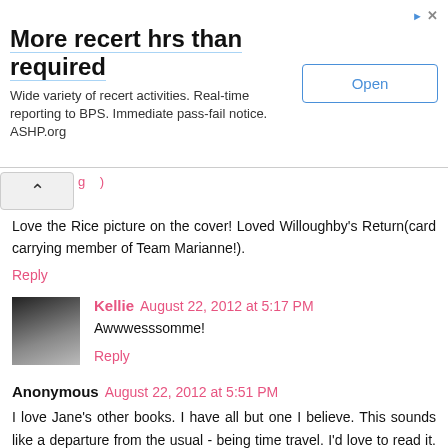[Figure (other): Advertisement banner for ASHP.org recert hours service]
Love the Rice picture on the cover! Loved Willoughby's Return(card carrying member of Team Marianne!).
Reply
Kellie  August 22, 2012 at 5:17 PM
Awwwesssomme!
Reply
Anonymous  August 22, 2012 at 5:51 PM
I love Jane's other books. I have all but one I believe. This sounds like a departure from the usual - being time travel. I'd love to read it. I think Ms. Odiwe's style of writing will make any book she writes in very good taste.